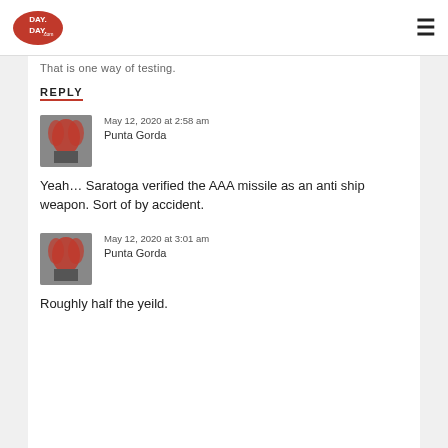DAY DAY [logo] | hamburger menu
That is one way of testing.
REPLY
May 12, 2020 at 2:58 am
Punta Gorda
Yeah… Saratoga verified the AAA missile as an anti ship weapon. Sort of by accident.
May 12, 2020 at 3:01 am
Punta Gorda
Roughly half the yeild.